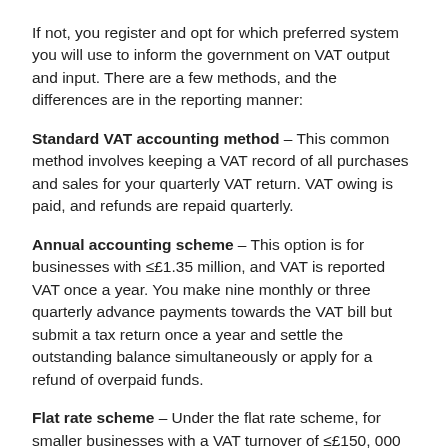If not, you register and opt for which preferred system you will use to inform the government on VAT output and input. There are a few methods, and the differences are in the reporting manner:
Standard VAT accounting method – This common method involves keeping a VAT record of all purchases and sales for your quarterly VAT return. VAT owing is paid, and refunds are repaid quarterly.
Annual accounting scheme – This option is for businesses with ≤£1.35 million, and VAT is reported VAT once a year. You make nine monthly or three quarterly advance payments towards the VAT bill but submit a tax return once a year and settle the outstanding balance simultaneously or apply for a refund of overpaid funds.
Flat rate scheme – Under the flat rate scheme, for smaller businesses with a VAT turnover of ≤£150,000 (excl VAT), you pay a fixed rate of VAT, representing a percentage of your turnover. The actual rate depends on your industry. You still charge VAT on sales, but you don't